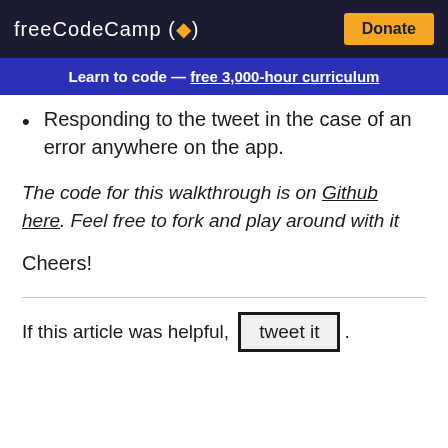freeCodeCamp(🔥)  Donate
Learn to code — free 3,000-hour curriculum
Responding to the tweet in the case of an error anywhere on the app.
The code for this walkthrough is on Github here. Feel free to fork and play around with it
Cheers!
If this article was helpful, tweet it .